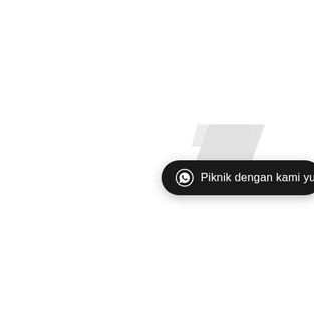[Figure (other): Dark rounded pill-shaped WhatsApp call-to-action button with WhatsApp icon and text 'Piknik dengan kami yuk!' on a white background, with a light grey decorative parallelogram/ribbon shape above-left of the button.]